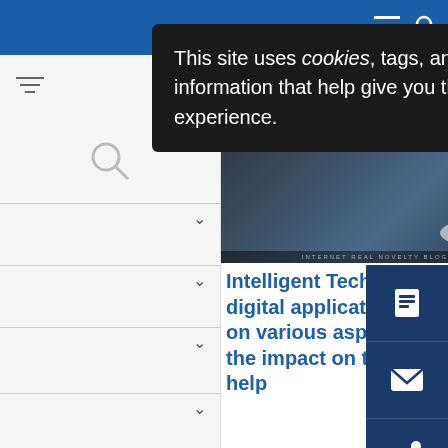Website header bar with navigation icons
This site uses cookies, tags, and tracking settings to store information that help give you the very best browsing experience.
[Figure (photo): Robotic arm illustration with text 'Takes Flight' on dark background]
Intelligent Technology: As digital applications encroach on various aspects of daily life, the impact on the economy will help